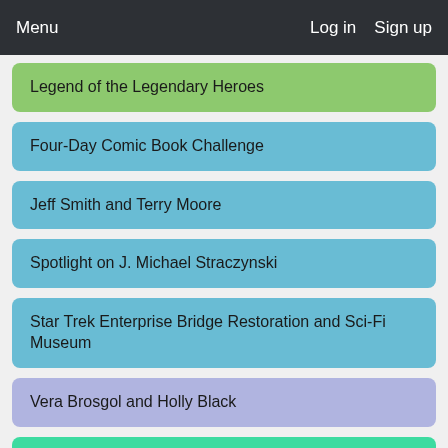Menu  Log in  Sign up
Legend of the Legendary Heroes
Four-Day Comic Book Challenge
Jeff Smith and Terry Moore
Spotlight on J. Michael Straczynski
Star Trek Enterprise Bridge Restoration and Sci-Fi Museum
Vera Brosgol and Holly Black
Cthulhu Dice & Revolution
Gays in Comics XXVI